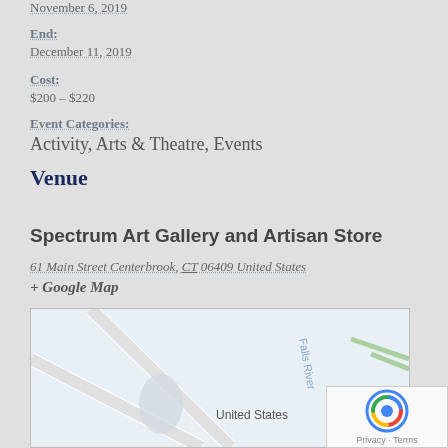November 6, 2019
End:
December 11, 2019
Cost:
$200 – $220
Event Categories:
Activity, Arts & Theatre, Events
Venue
Spectrum Art Gallery and Artisan Store
61 Main Street Centerbrook, CT 06409 United States
+ Google Map
Website:
http://www.spectrumartgallery.org
[Figure (map): Google Map showing Centerbrook, CT area with Falls River label, roads, and United States label with location pin]